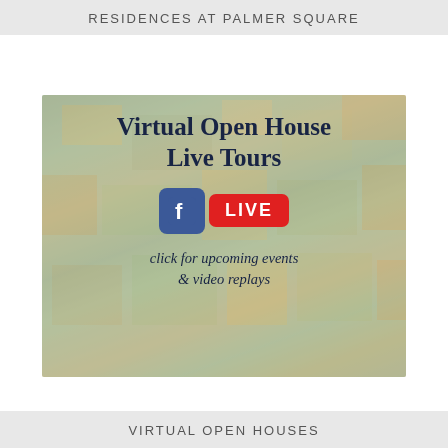RESIDENCES AT PALMER SQUARE
[Figure (infographic): Aerial photo background of a suburban neighborhood with autumn foliage. Overlaid with text: 'Virtual Open House Live Tours', a Facebook LIVE badge, and italic text 'click for upcoming events & video replays'.]
VIRTUAL OPEN HOUSES